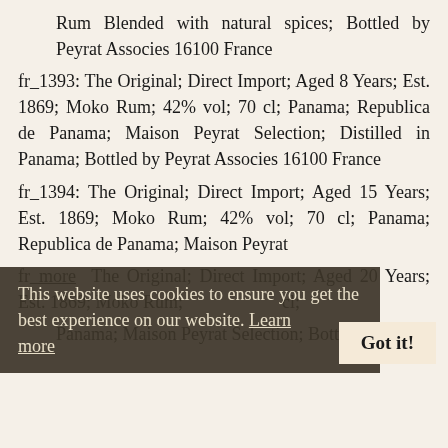Rum Blended with natural spices; Bottled by Peyrat Associes 16100 France
fr_1393: The Original; Direct Import; Aged 8 Years; Est. 1869; Moko Rum; 42% vol; 70 cl; Panama; Republica de Panama; Maison Peyrat Selection; Distilled in Panama; Bottled by Peyrat Associes 16100 France
fr_1394: The Original; Direct Import; Aged 15 Years; Est. 1869; Moko Rum; 42% vol; 70 cl; Panama; Republica de Panama; Maison Peyrat ...
This website uses cookies to ensure you get the best experience on our website. Learn more
fr_ The Original; Direct Import; Aged 20 Years; Est. 1869; Moko Rum; ... cl; Panama; Maison Peyrat Selection; Bottled by